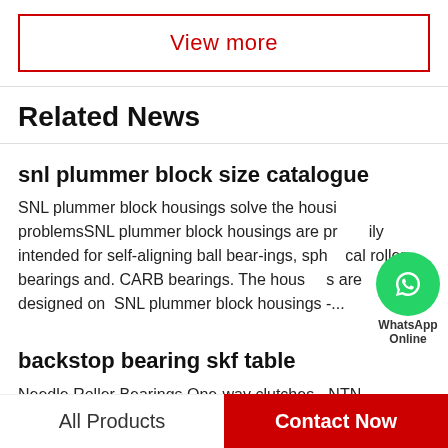View more
Related News
snl plummer block size catalogue
SNL plummer block housings solve the housing problemsSNL plummer block housings are primarily intended for self-aligning ball bear-ings, spherical roller bearings and. CARB bearings. The housings are designed on  SNL plummer block housings -...
backstop bearing skf table
Needle Roller Bearings One-way clutches - NTN Global...
All Products | Contact Now